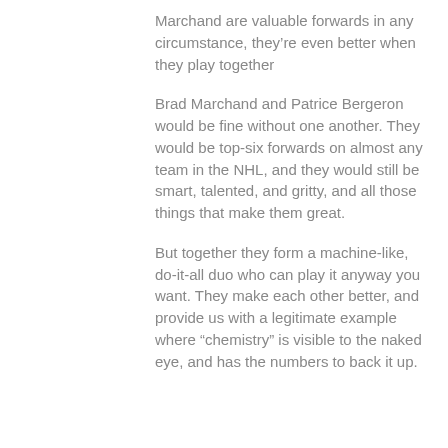Marchand are valuable forwards in any circumstance, they're even better when they play together
Brad Marchand and Patrice Bergeron would be fine without one another. They would be top-six forwards on almost any team in the NHL, and they would still be smart, talented, and gritty, and all those things that make them great.
But together they form a machine-like, do-it-all duo who can play it anyway you want. They make each other better, and provide us with a legitimate example where “chemistry” is visible to the naked eye, and has the numbers to back it up.